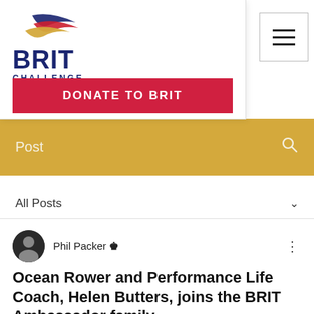BRIT CHALLENGE — navigation header with logo, hamburger menu, and DONATE TO BRIT button
Post
All Posts
Phil Packer 👑
Ocean Rower and Performance Life Coach, Helen Butters, joins the BRIT Ambassador family
We are delighted that Helen has joined our BRIT Ambassador family